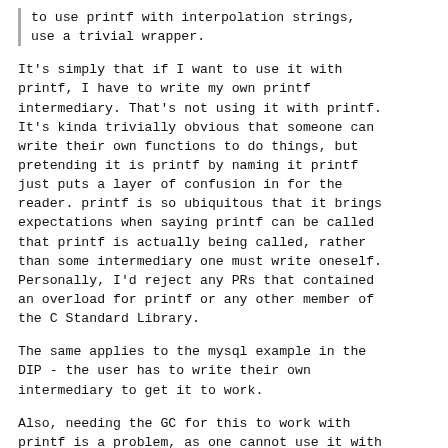to use printf with interpolation strings, use a trivial wrapper.
It's simply that if I want to use it with printf, I have to write my own printf intermediary. That's not using it with printf. It's kinda trivially obvious that someone can write their own functions to do things, but pretending it is printf by naming it printf just puts a layer of confusion in for the reader. printf is so ubiquitous that it brings expectations when saying printf can be called that printf is actually being called, rather than some intermediary one must write oneself. Personally, I'd reject any PRs that contained an overload for printf or any other member of the C Standard Library.
The same applies to the mysql example in the DIP - the user has to write their own intermediary to get it to work.
Also, needing the GC for this to work with printf is a problem, as one cannot use it with betterC. Having this GC call hidden is not good, as D programmers calling printf are likely doing it because they want the lo...